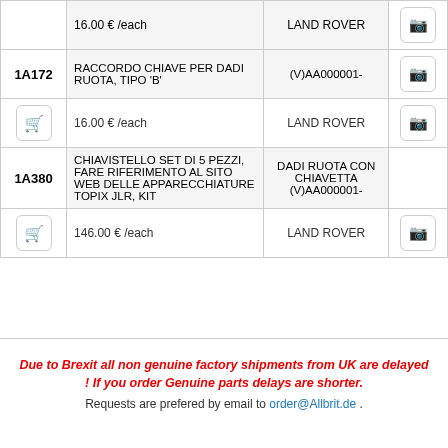| ID | Description | Compatibility | Icon |
| --- | --- | --- | --- |
|  | 16.00 € /each | LAND ROVER |  |
| 1A172 | RACCORDO CHIAVE PER DADI RUOTA, TIPO 'B' | (V)AA000001- | 📷 |
|  | 16.00 € /each | LAND ROVER | 📷 |
| 1A380 | CHIAVISTELLO SET DI 5 PEZZI, FARE RIFERIMENTO AL SITO WEB DELLE APPARECCHIATURE TOPIX JLR, KIT | DADI RUOTA CON CHIAVETTA (V)AA000001- |  |
|  | 146.00 € /each | LAND ROVER | 📷 |
Due to Brexit all non genuine factory shipments from UK are delayed ! If you order Genuine parts delays are shorter.
Requests are prefered by email to order@Allbrit.de .